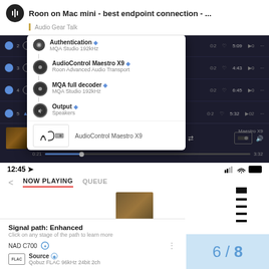Roon on Mac mini - best endpoint connection - ... | Audio Gear Talk
[Figure (screenshot): Roon music player desktop screenshot showing track list with signal path popup. Popup shows: Authentication (MQA Studio 192kHz), AudioControl Maestro X9 (Roon Advanced Audio Transport), MQA full decoder (MQA Studio 192kHz), Output (Speakers). AudioControl Maestro X9 logo shown at bottom of popup. Track list visible in background with tracks including Chocolate, High Spoo(d), Blow, Sonya, Fantasy. Playback bar shows Blow by Miles Davis, Doo-Bop Box at 0:21 of 3:32.]
[Figure (screenshot): Mobile Roon app screenshot showing NOW PLAYING / QUEUE tabs, album art, signal path card showing: Signal path: Enhanced, Click on any stage of the path to learn more, NAD C700 device, Source - Qobuz FLAC 96kHz 24bit 2ch. Dashed black stripe design element on right side. Page counter 6/8 in blue on light blue background.]